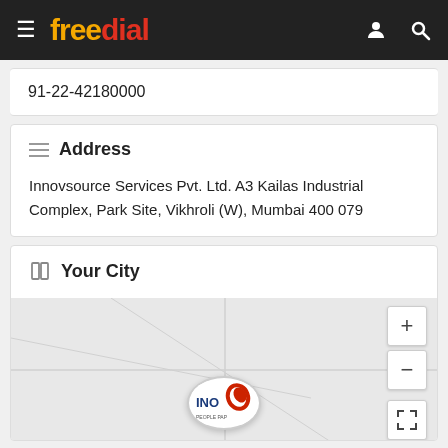freedial
91-22-42180000
Address
Innovsource Services Pvt. Ltd. A3 Kailas Industrial Complex, Park Site, Vikhroli (W), Mumbai 400 079
Your City
[Figure (map): Interactive map showing location of Innovsource Services in Mumbai, with zoom controls (+/-) and a fullscreen button. A company logo pin marker is visible on the map area.]